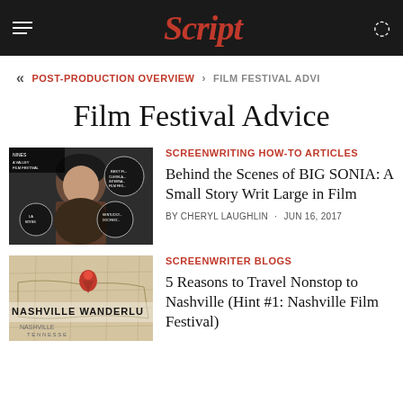Script
POST-PRODUCTION OVERVIEW > FILM FESTIVAL ADVICE
Film Festival Advice
[Figure (photo): Film festival poster/thumbnail showing a woman with dark hair, overlay of film festival laurel award badges including 'A Valley Film Festival' and 'Best Film Cleveland International Film Festival']
SCREENWRITING HOW-TO ARTICLES
Behind the Scenes of BIG SONIA: A Small Story Writ Large in Film
BY CHERYL LAUGHLIN · JUN 16, 2017
[Figure (photo): Map thumbnail showing Nashville Wanderlust with a red pin marker on a vintage-style map, text reads NASHVILLE WANDERLU visible]
SCREENWRITER BLOGS
5 Reasons to Travel Nonstop to Nashville (Hint #1: Nashville Film Festival)